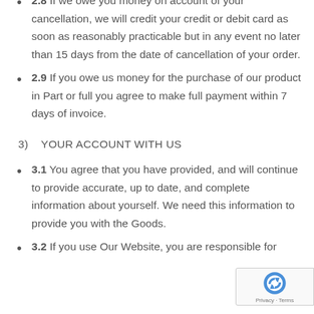2.8 If we owe you money on account of your cancellation, we will credit your credit or debit card as soon as reasonably practicable but in any event no later than 15 days from the date of cancellation of your order.
2.9 If you owe us money for the purchase of our product in Part or full you agree to make full payment within 7 days of invoice.
3)   YOUR ACCOUNT WITH US
3.1 You agree that you have provided, and will continue to provide accurate, up to date, and complete information about yourself. We need this information to provide you with the Goods.
3.2 If you use Our Website, you are responsible for